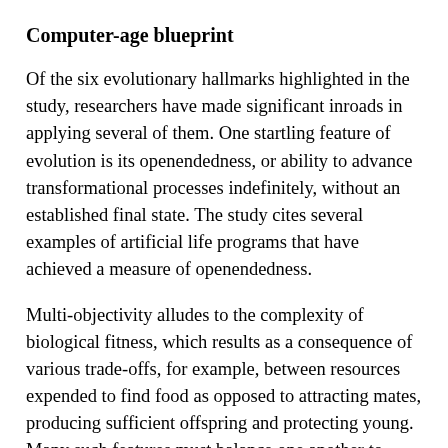Computer-age blueprint
Of the six evolutionary hallmarks highlighted in the study, researchers have made significant inroads in applying several of them. One startling feature of evolution is its openendedness, or ability to advance transformational processes indefinitely, without an established final state. The study cites several examples of artificial life programs that have achieved a measure of openendedness.
Multi-objectivity alludes to the complexity of biological fitness, which results as a consequence of various trade-offs, for example, between resources expended to find food as opposed to attracting mates, producing sufficient offspring and protecting young. Many such features must balance one another to achieve maximum reproductive success. Researchers have recently made progress mimicking multi-objectivity in open-ended EC.